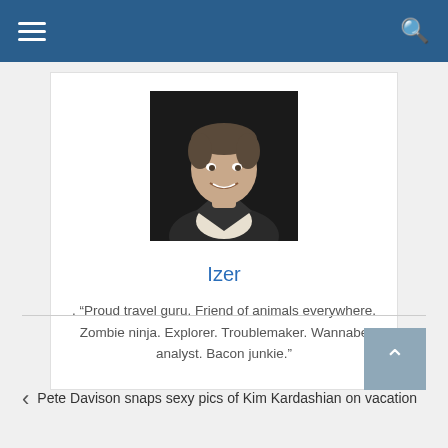Navigation bar with hamburger menu and search icon
[Figure (photo): Portrait photo of a middle-aged man with short hair, smiling, wearing a dark jacket, against a dark background]
Izer
. “Proud travel guru. Friend of animals everywhere. Zombie ninja. Explorer. Troublemaker. Wannabe analyst. Bacon junkie.”
Pete Davison snaps sexy pics of Kim Kardashian on vacation